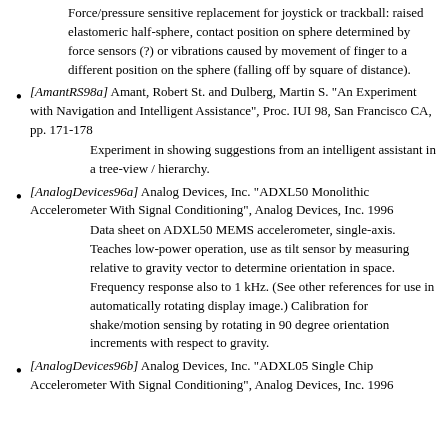Force/pressure sensitive replacement for joystick or trackball: raised elastomeric half-sphere, contact position on sphere determined by force sensors (?) or vibrations caused by movement of finger to a different position on the sphere (falling off by square of distance).
[AmantRS98a] Amant, Robert St. and Dulberg, Martin S. "An Experiment with Navigation and Intelligent Assistance", Proc. IUI 98, San Francisco CA, pp. 171-178 — Experiment in showing suggestions from an intelligent assistant in a tree-view / hierarchy.
[AnalogDevices96a] Analog Devices, Inc. "ADXL50 Monolithic Accelerometer With Signal Conditioning", Analog Devices, Inc. 1996 — Data sheet on ADXL50 MEMS accelerometer, single-axis. Teaches low-power operation, use as tilt sensor by measuring relative to gravity vector to determine orientation in space. Frequency response also to 1 kHz. (See other references for use in automatically rotating display image.) Calibration for shake/motion sensing by rotating in 90 degree orientation increments with respect to gravity.
[AnalogDevices96b] Analog Devices, Inc. "ADXL05 Single Chip Accelerometer With Signal Conditioning", Analog Devices, Inc. 1996